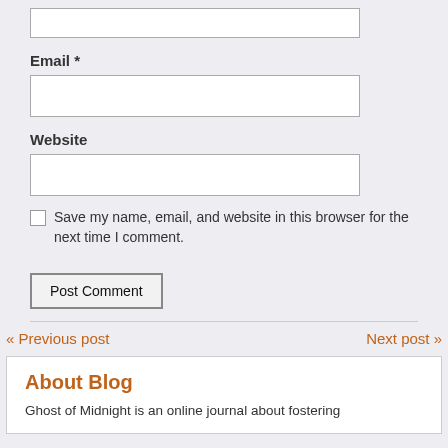[Figure (screenshot): An empty text input box for a form field (top of page, partially visible)]
Email *
[Figure (screenshot): An empty text input box for the Email field]
Website
[Figure (screenshot): An empty text input box for the Website field]
Save my name, email, and website in this browser for the next time I comment.
[Figure (screenshot): Post Comment button]
« Previous post
Next post »
About Blog
Ghost of Midnight is an online journal about fostering